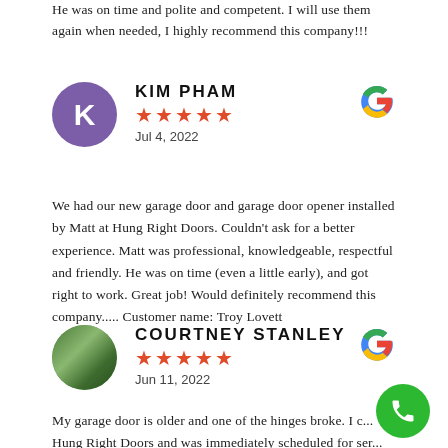He was on time and polite and competent. I will use them again when needed, I highly recommend this company!!!
KIM PHAM — ★★★★★ — Jul 4, 2022
We had our new garage door and garage door opener installed by Matt at Hung Right Doors. Couldn't ask for a better experience. Matt was professional, knowledgeable, respectful and friendly. He was on time (even a little early), and got right to work. Great job! Would definitely recommend this company..... Customer name: Troy Lovett
COURTNEY STANLEY — ★★★★★ — Jun 11, 2022
My garage door is older and one of the hinges broke. I called Hung Right Doors and was immediately scheduled for service. Service is WONDERFUL and was knowledgeable helpful. He did a...